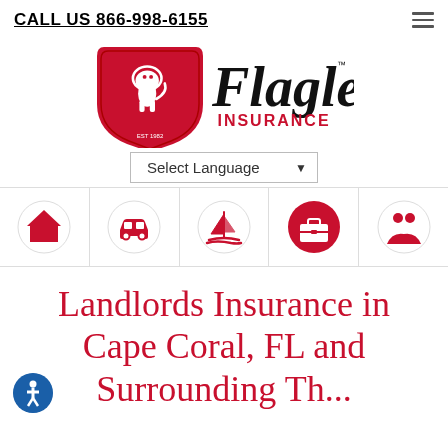CALL US 866-998-6155
[Figure (logo): Flagler Insurance logo: red shield with white lion, script 'Flagler' in black cursive, 'INSURANCE' in red below]
[Figure (infographic): Language selector dropdown showing 'Select Language' with a dropdown arrow]
[Figure (infographic): Navigation icon bar with 5 icons in circles: home/house (red filled), car/auto (red outline), sailboat (red outline), briefcase/business (red filled), people/life (red outline)]
Landlords Insurance in Cape Coral, FL and Surrounding Th...